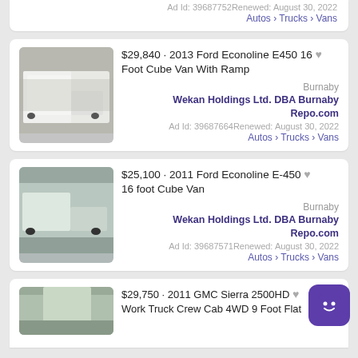Ad Id: 39687752Renewed: August 30, 2022
Autos › Trucks › Vans
[Figure (photo): White box truck / cube van parked outdoors]
$29,840 · 2013 Ford Econoline E450 16 Foot Cube Van With Ramp
Burnaby
Wekan Holdings Ltd. DBA Burnaby Repo.com
Ad Id: 39687664Renewed: August 30, 2022
Autos › Trucks › Vans
[Figure (photo): White Ford Econoline cube van parked outdoors]
$25,100 · 2011 Ford Econoline E-450 16 foot Cube Van
Burnaby
Wekan Holdings Ltd. DBA Burnaby Repo.com
Ad Id: 39687571Renewed: August 30, 2022
Autos › Trucks › Vans
[Figure (photo): Partial image of a truck/van in a lot]
$29,750 · 2011 GMC Sierra 2500HD Work Truck Crew Cab 4WD 9 Foot Flat